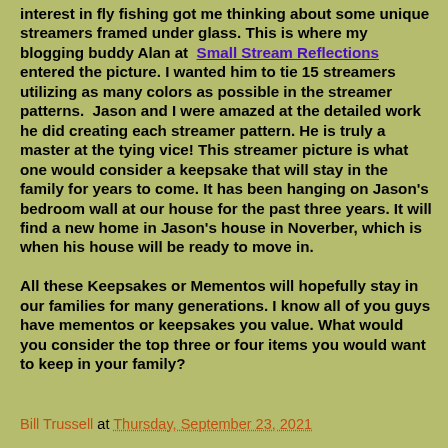interest in fly fishing got me thinking about some unique streamers framed under glass. This is where my blogging buddy Alan at Small Stream Reflections entered the picture. I wanted him to tie 15 streamers utilizing as many colors as possible in the streamer patterns.  Jason and I were amazed at the detailed work he did creating each streamer pattern. He is truly a master at the tying vice! This streamer picture is what one would consider a keepsake that will stay in the family for years to come. It has been hanging on Jason's bedroom wall at our house for the past three years. It will find a new home in Jason's house in Noverber, which is when his house will be ready to move in.
All these Keepsakes or Mementos will hopefully stay in our families for many generations. I know all of you guys have mementos or keepsakes you value. What would you consider the top three or four items you would want to keep in your family?
Bill Trussell at Thursday, September 23, 2021